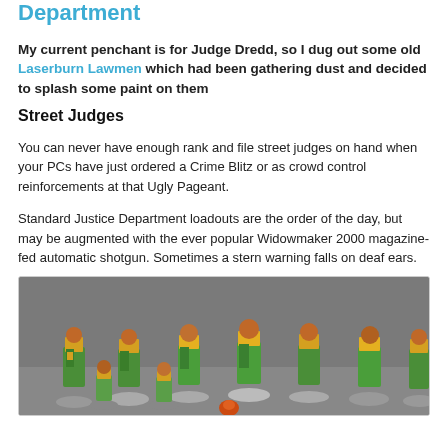Department
My current penchant is for Judge Dredd, so I dug out some old Laserburn Lawmen which had been gathering dust and decided to splash some paint on them
Street Judges
You can never have enough rank and file street judges on hand when your PCs have just ordered a Crime Blitz or as crowd control reinforcements at that Ugly Pageant.
Standard Justice Department loadouts are the order of the day, but may be augmented with the ever popular Widowmaker 2000 magazine-fed automatic shotgun. Sometimes a stern warning falls on deaf ears.
[Figure (photo): Photograph of painted miniature figures of Street Judges in green and yellow armor on grey bases, arranged in two rows]